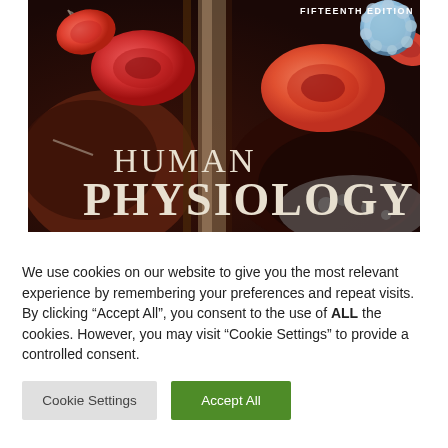[Figure (illustration): Book cover of Human Physiology Fifteenth Edition showing red blood cells, a white blood cell, and biological tissue in dark red/brown tones. The title 'HUMAN PHYSIOLOGY' is displayed in large serif lettering over the image, with 'FIFTEENTH EDITION' in the upper right.]
We use cookies on our website to give you the most relevant experience by remembering your preferences and repeat visits. By clicking “Accept All”, you consent to the use of ALL the cookies. However, you may visit "Cookie Settings" to provide a controlled consent.
Cookie Settings
Accept All